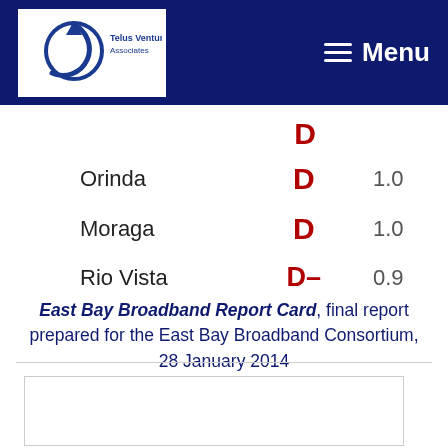Telus Venture Associates — Menu
| City | Grade | Score |
| --- | --- | --- |
| Orinda | D | 1.0 |
| Moraga | D | 1.0 |
| Rio Vista | D– | 0.9 |
East Bay Broadband Report Card, final report prepared for the East Bay Broadband Consortium, 28 January 2014
[Figure (other): Empty white box with border at bottom of page]